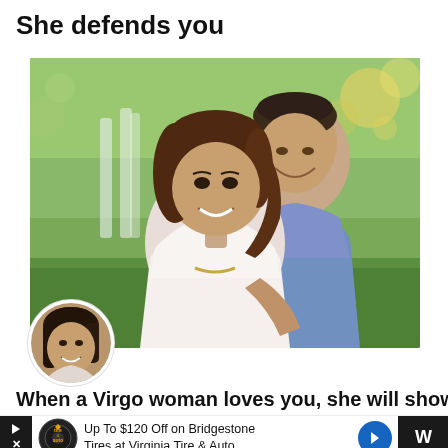She defends you
[Figure (photo): A couple sitting back-to-back outdoors in a park setting. A young woman with brown hair wearing a white lace top leans against a man in a blue shirt. Both are smiling. Blurred green trees and bokeh lights in background.]
[Figure (photo): Small circular avatar image of a young woman with dark hair smiling, used as author/profile photo.]
When a Virgo woman loves you, she will show
Up To $120 Off on Bridgestone Tires at Virginia Tire & Auto